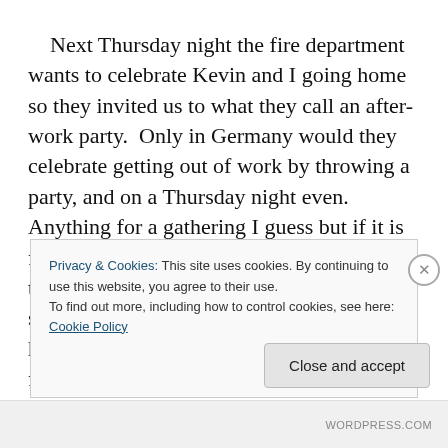Next Thursday night the fire department wants to celebrate Kevin and I going home so they invited us to what they call an after-work party.  Only in Germany would they celebrate getting out of work by throwing a party, and on a Thursday night even.  Anything for a gathering I guess but if it is fun perhaps I will bring the tradition back to the States.  I do think Kevin is in for a big surprise however.  During a previous visit he half-heartedly invited the guys the firehouse over to visit Boston whenever they
Privacy & Cookies: This site uses cookies. By continuing to use this website, you agree to their use.
To find out more, including how to control cookies, see here: Cookie Policy
Close and accept